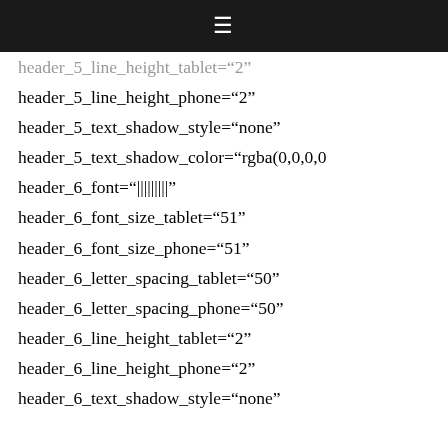≡
header_5_line_height_tablet="2"
header_5_line_height_phone="2"
header_5_text_shadow_style="none"
header_5_text_shadow_color="rgba(0,0,0,0
header_6_font="|||||||||"
header_6_font_size_tablet="51"
header_6_font_size_phone="51"
header_6_letter_spacing_tablet="50"
header_6_letter_spacing_phone="50"
header_6_line_height_tablet="2"
header_6_line_height_phone="2"
header_6_text_shadow_style="none"